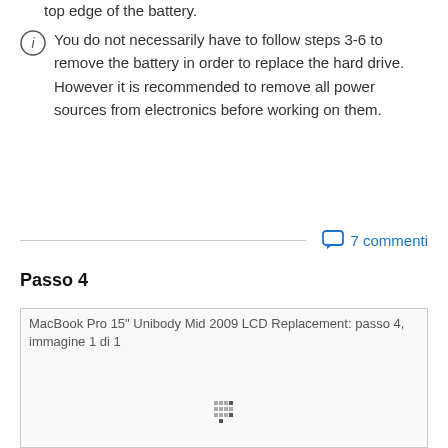top edge of the battery.
You do not necessarily have to follow steps 3-6 to remove the battery in order to replace the hard drive. However it is recommended to remove all power sources from electronics before working on them.
7 commenti
Passo 4
[Figure (photo): MacBook Pro 15" Unibody Mid 2009 LCD Replacement: passo 4, immagine 1 di 1 — image loading placeholder]